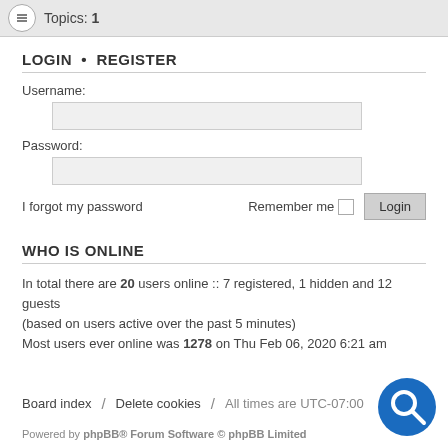Topics: 1
LOGIN • REGISTER
Username:
Password:
I forgot my password    Remember me    Login
WHO IS ONLINE
In total there are 20 users online :: 7 registered, 1 hidden and 12 guests (based on users active over the past 5 minutes)
Most users ever online was 1278 on Thu Feb 06, 2020 6:21 am
Board index  /  Delete cookies  /  All times are UTC-07:00
Powered by phpBB® Forum Software © phpBB Limited